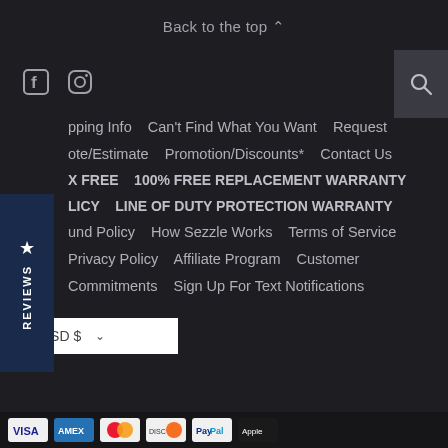Back to the top ^
[Figure (other): Social media icons: Facebook and Instagram, with a search icon button on the right]
REVIEWS (sidebar tab)
pping Info   Can't Find What You Want   Request
ote/Estimate   Promotion/Discounts*   Contact Us
X FREE   100% FREE REPLACEMENT WARRANTY
LICY   LINE OF DUTY PROTECTION WARRANTY
und Policy   How Sezzle Works   Terms of Service
Privacy Policy   Affiliate Program   Customer
Commitments   Sign Up For Text Notifications
USD $
[Figure (other): Payment method icons at the bottom of the page]